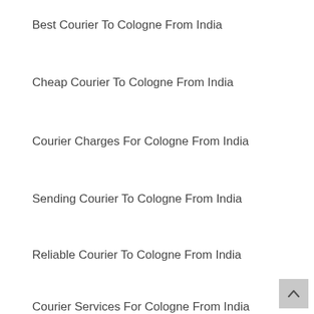Best Courier To Cologne From India
Cheap Courier To Cologne From India
Courier Charges For Cologne From India
Sending Courier To Cologne From India
Reliable Courier To Cologne From India
Courier Services For Cologne From India